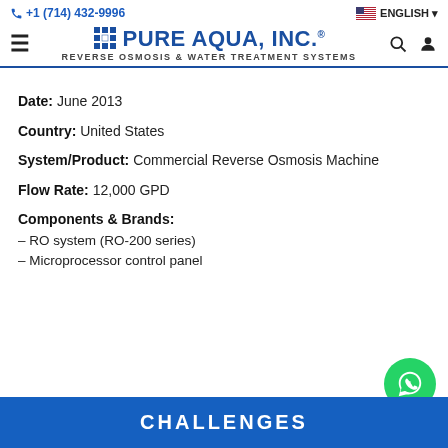+1 (714) 432-9996 | PURE AQUA, INC. REVERSE OSMOSIS & WATER TREATMENT SYSTEMS | ENGLISH
Date: June 2013
Country: United States
System/Product: Commercial Reverse Osmosis Machine
Flow Rate: 12,000 GPD
Components & Brands:
– RO system (RO-200 series)
– Microprocessor control panel
CHALLENGES